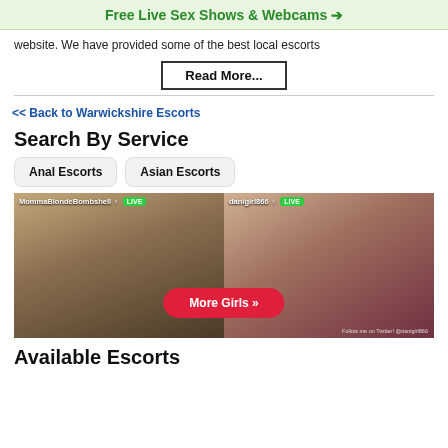Free Live Sex Shows & Webcams →
website. We have provided some of the best local escorts
Read More...
<< Back to Warwickshire Escorts
Search By Service
Anal Escorts
Asian Escorts
[Figure (screenshot): Two live webcam panels side by side: left shows MommaBlondeBombshell with LIVE badge, right shows danigirl866 with LIVE badge. A red 'More Girls >>' button overlays the center. Bottom right has Twitter note '@danigirl866'.]
Available Escorts